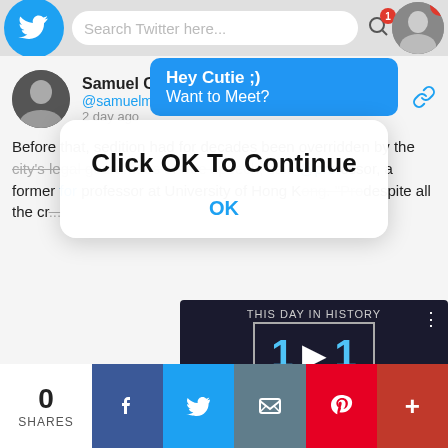[Figure (screenshot): Twitter mobile app interface screenshot showing: a blue notification popup saying 'Hey Cutie ;) Want to Meet?', a tweet by Samuel Chu @samuelmchu about sedition and free speech in Hong Kong, a modal dialog saying 'Click OK To Continue' with an OK button, an embedded video player showing 'THIS DAY IN HISTORY' with the number 11 and 'AUGUST', and a social sharing bottom bar with 0 SHARES, Facebook, Twitter, Email, Pinterest, and More buttons.]